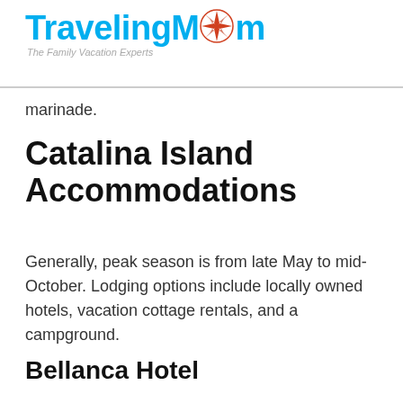TravelingMom — The Family Vacation Experts
marinade.
Catalina Island Accommodations
Generally, peak season is from late May to mid-October. Lodging options include locally owned hotels, vacation cottage rentals, and a campground.
Bellanca Hotel